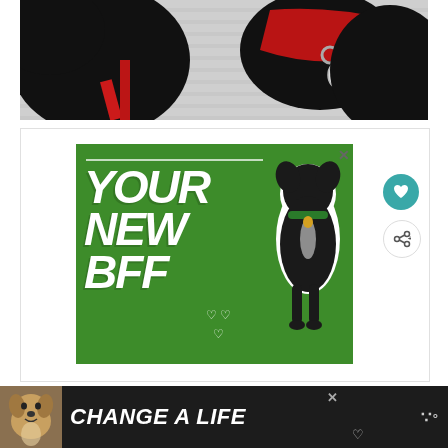[Figure (photo): Close-up photo of a black dog with a red harness/leash and collar with tags, against a white slatted background]
[Figure (infographic): Green advertisement banner reading 'YOUR NEW BFF' with a black dog photo and heart decorations, with an X close button]
[Figure (infographic): Bottom black banner advertisement showing a light-colored dog and text 'CHANGE A LIFE' with close and heart buttons, and dots menu icon]